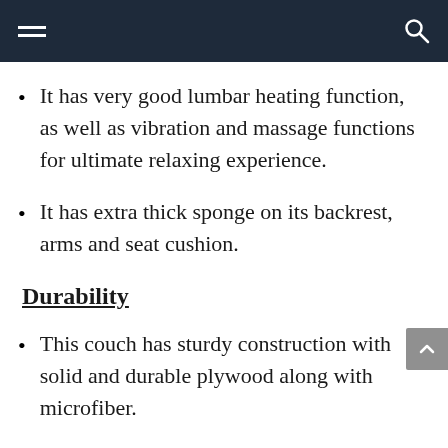Navigation bar with hamburger menu and search icon
It has very good lumbar heating function, as well as vibration and massage functions for ultimate relaxing experience.
It has extra thick sponge on its backrest, arms and seat cushion.
Durability
This couch has sturdy construction with solid and durable plywood along with microfiber.